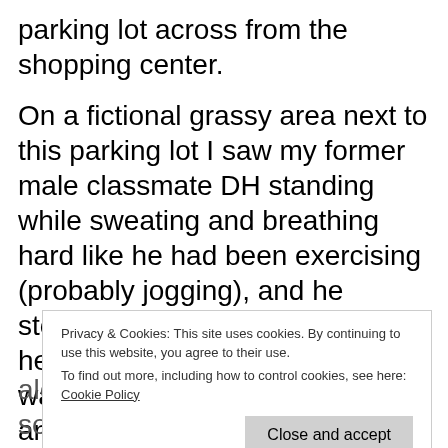parking lot across from the shopping center.
On a fictional grassy area next to this parking lot I saw my former male classmate DH standing while sweating and breathing hard like he had been exercising (probably jogging), and he stopped to cool down because he was finished and/or tired so I walked over and greeted him and talked with him; but that is all t
Privacy & Cookies: This site uses cookies. By continuing to use this website, you agree to their use. To find out more, including how to control cookies, see here: Cookie Policy
Close and accept
alone, and it looked interesting so I wanted to